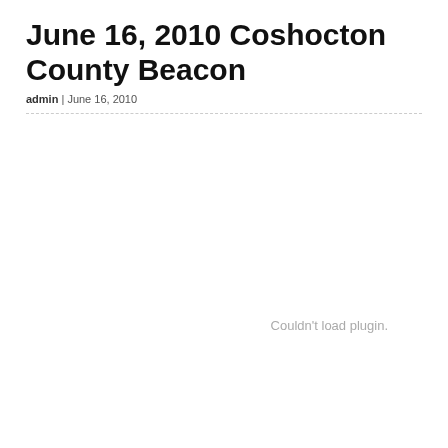June 16, 2010 Coshocton County Beacon
admin | June 16, 2010
Couldn't load plugin.